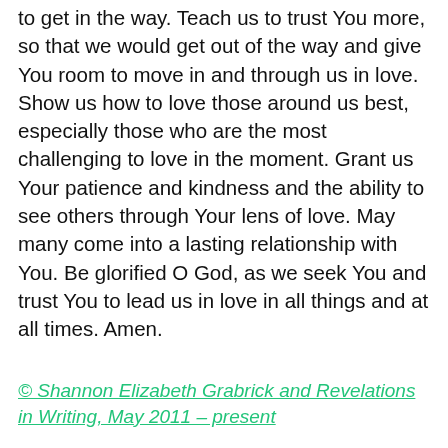to get in the way. Teach us to trust You more, so that we would get out of the way and give You room to move in and through us in love. Show us how to love those around us best, especially those who are the most challenging to love in the moment. Grant us Your patience and kindness and the ability to see others through Your lens of love. May many come into a lasting relationship with You. Be glorified O God, as we seek You and trust You to lead us in love in all things and at all times. Amen.
© Shannon Elizabeth Grabrick and Revelations in Writing, May 2011 – present